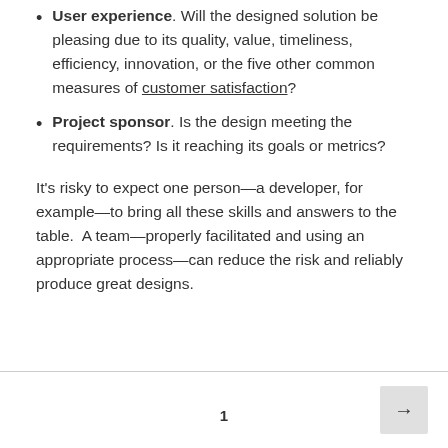User experience. Will the designed solution be pleasing due to its quality, value, timeliness, efficiency, innovation, or the five other common measures of customer satisfaction?
Project sponsor. Is the design meeting the requirements? Is it reaching its goals or metrics?
It's risky to expect one person—a developer, for example—to bring all these skills and answers to the table. A team—properly facilitated and using an appropriate process—can reduce the risk and reliably produce great designs.
1